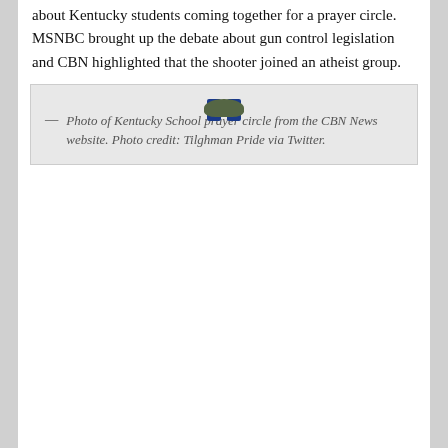about Kentucky students coming together for a prayer circle.  MSNBC brought up the debate about gun control legislation and CBN highlighted that the shooter joined an atheist group.
[Figure (photo): Aerial photograph of Kentucky school students forming a large prayer circle outdoors, with a flagpole and blue banners in the center, a pathway leading through the crowd, shrubs, and a parking lot visible in the background.]
— Photo of Kentucky School prayer circle from the CBN News website. Photo credit: Tilghman Pride via Twitter.